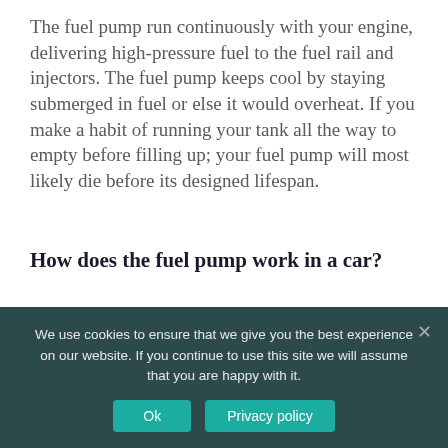The fuel pump run continuously with your engine, delivering high-pressure fuel to the fuel rail and injectors. The fuel pump keeps cool by staying submerged in fuel or else it would overheat. If you make a habit of running your tank all the way to empty before filling up; your fuel pump will most likely die before its designed lifespan.
How does the fuel pump work in a car?
The fuel pump is a device that moves fuel from your tank to the engine, supplying the fuel at a
We use cookies to ensure that we give you the best experience on our website. If you continue to use this site we will assume that you are happy with it.